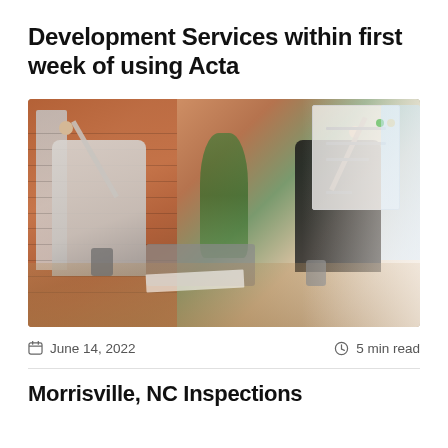Development Services within first week of using Acta
[Figure (photo): Two business professionals — a man in a light blue shirt and tie and a woman in a dark blazer — giving each other a high five across a desk with a laptop, papers, and mugs. Office with brick wall background, whiteboard, and plants.]
June 14, 2022    5 min read
Morrisville, NC Inspections